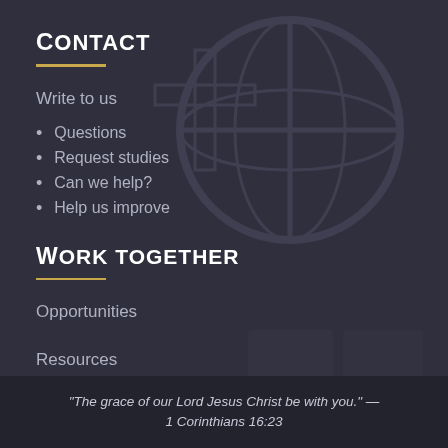Contact
Write to us
Questions
Request studies
Can we help?
Help us improve
Work together
Opportunities
Resources
“The grace of our Lord Jesus Christ be with you.” — 1 Corinthians 16:23